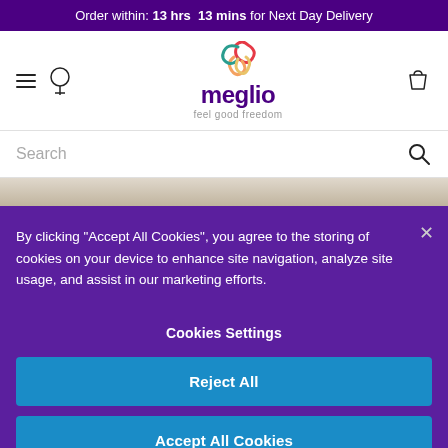Order within: 13 hrs 13 mins for Next Day Delivery
[Figure (logo): Meglio logo with colorful swirl graphic above the word 'meglio' and tagline 'feel good freedom']
Search
By clicking "Accept All Cookies", you agree to the storing of cookies on your device to enhance site navigation, analyze site usage, and assist in our marketing efforts.
Cookies Settings
Reject All
Accept All Cookies